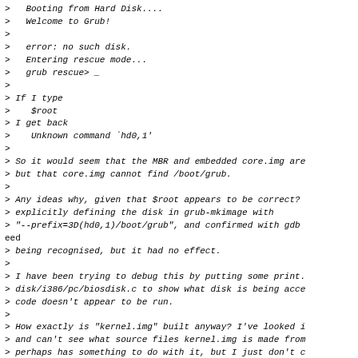> Booting from Hard Disk....
> Welcome to Grub!
>
> error: no such disk.
> Entering rescue mode...
> grub rescue> _
>
> If I type
>    $root
> I get back
>    Unknown command `hd0,1'
>
> So it would seem that the MBR and embedded core.img are
> but that core.img cannot find /boot/grub.
>
> Any ideas why, given that $root appears to be correct?
> explicitly defining the disk in grub-mkimage with
> "--prefix=3D(hd0,1)/boot/grub", and confirmed with gdb
eed
> being recognised, but it had no effect.
>
> I have been trying to debug this by putting some print.
> disk/i386/pc/biosdisk.c to show what disk is being acce
> code doesn't appear to be run.
>
> How exactly is "kernel.img" built anyway? I've looked i
> and can't see what source files kernel.img is made from
> perhaps has something to do with it, but I just don't c
>
> And I see that in grub-mkimage there is something to do